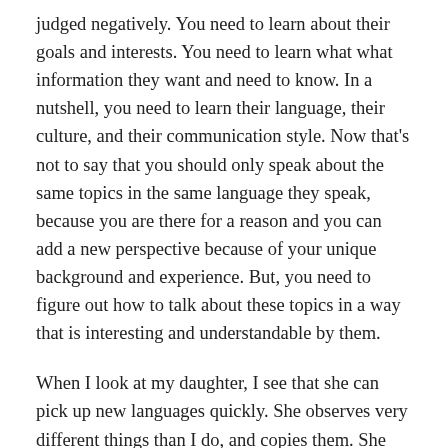judged negatively. You need to learn about their goals and interests. You need to learn what what information they want and need to know. In a nutshell, you need to learn their language, their culture, and their communication style. Now that's not to say that you should only speak about the same topics in the same language they speak, because you are there for a reason and you can add a new perspective because of your unique background and experience. But, you need to figure out how to talk about these topics in a way that is interesting and understandable by them.
When I look at my daughter, I see that she can pick up new languages quickly. She observes very different things than I do, and copies them. She certainly adds her own flavor and personality into a conversation, but she still adapts and fits in in an interesting way.
Because when you are in a new group, for them, the ability t...